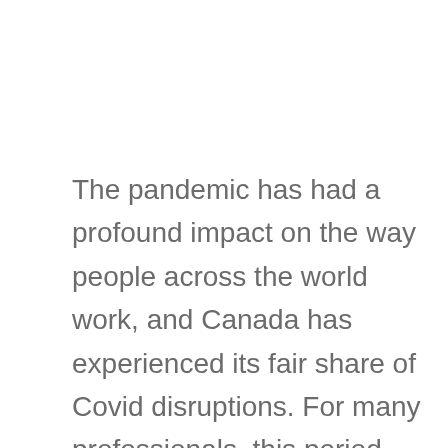The pandemic has had a profound impact on the way people across the world work, and Canada has experienced its fair share of Covid disruptions. For many professionals, this period has given rise to career reflection, and as in the United States, the so-called Great Resignation is